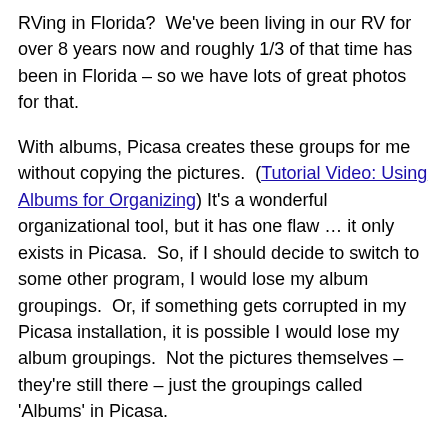RVing in Florida?  We've been living in our RV for over 8 years now and roughly 1/3 of that time has been in Florida – so we have lots of great photos for that.
With albums, Picasa creates these groups for me without copying the pictures.  (Tutorial Video: Using Albums for Organizing) It's a wonderful organizational tool, but it has one flaw … it only exists in Picasa.  So, if I should decide to switch to some other program, I would lose my album groupings.  Or, if something gets corrupted in my Picasa installation, it is possible I would lose my album groupings.  Not the pictures themselves – they're still there – just the groupings called 'Albums' in Picasa.
Because of this, I've started using Tags much more extensively.  Tags are a way to attach an identifier to the picture itself.  (Tutorial Video: Using Tags aka Keywords)They are part of the EXIF data of the .jpg file, so Tags can be used by many programs, not just Picasa.
(partial text cut off at bottom)